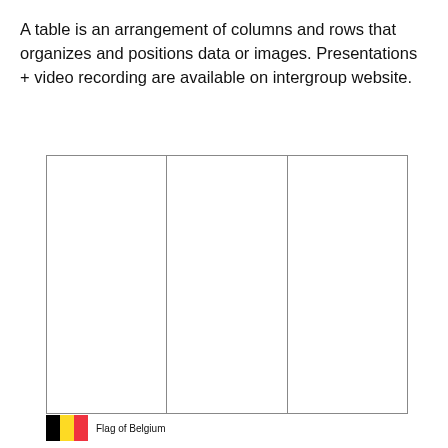A table is an arrangement of columns and rows that organizes and positions data or images. Presentations + video recording are available on intergroup website.
|  |  |  |
Flag of Belgium